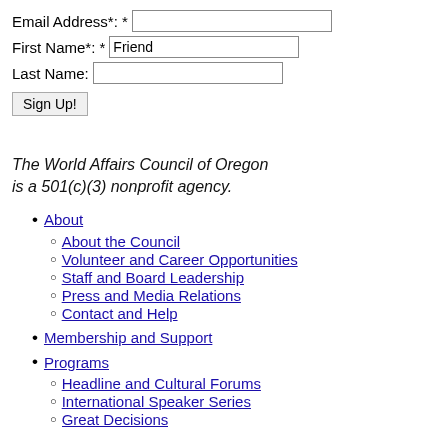Email Address*: *  [input field]
First Name*: *  Friend [input field]
Last Name:  [input field]
Sign Up! [button]
The World Affairs Council of Oregon is a 501(c)(3) nonprofit agency.
About
About the Council
Volunteer and Career Opportunities
Staff and Board Leadership
Press and Media Relations
Contact and Help
Membership and Support
Programs
Headline and Cultural Forums
International Speaker Series
Great Decisions